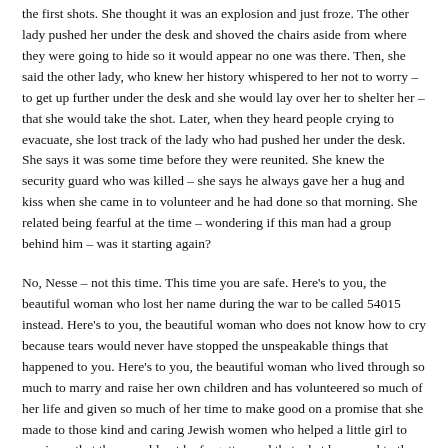the first shots. She thought it was an explosion and just froze. The other lady pushed her under the desk and shoved the chairs aside from where they were going to hide so it would appear no one was there. Then, she said the other lady, who knew her history whispered to her not to worry – to get up further under the desk and she would lay over her to shelter her – that she would take the shot. Later, when they heard people crying to evacuate, she lost track of the lady who had pushed her under the desk. She says it was some time before they were reunited. She knew the security guard who was killed – she says he always gave her a hug and kiss when she came in to volunteer and he had done so that morning. She related being fearful at the time – wondering if this man had a group behind him – was it starting again?
No, Nesse – not this time. This time you are safe. Here's to you, the beautiful woman who lost her name during the war to be called 54015 instead. Here's to you, the beautiful woman who does not know how to cry because tears would never have stopped the unspeakable things that happened to you. Here's to you, the beautiful woman who lived through so much to marry and raise her own children and has volunteered so much of her life and given so much of her time to make good on a promise that she made to those kind and caring Jewish women who helped a little girl to survive – that they would not be forgotten and that what happened to them would not happen again.
L'chaim, Nesse, L'chaim!